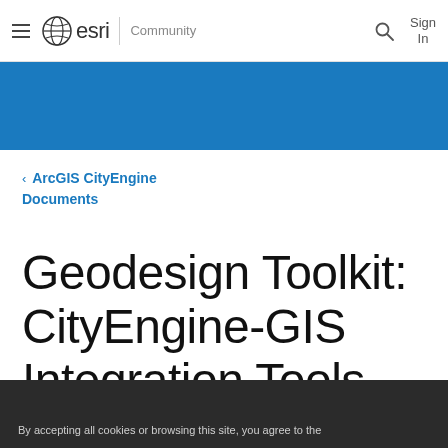esri Community — navigation bar with hamburger menu, Esri logo, Community label, search icon, Sign In
[Figure (screenshot): Blue banner/header band below the navigation bar]
< ArcGIS CityEngine Documents
Geodesign Toolkit: CityEngine-GIS Integration Tools
By accepting all cookies or browsing this site, you agree to the